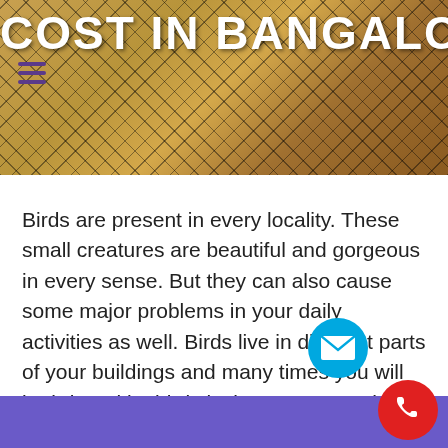[Figure (photo): Header image showing a wire mesh/net with brown brick or stone tiles behind it, with bold white text overlay reading 'COST IN BANGALORE' and a purple hamburger menu icon on the left]
Birds are present in every locality. These small creatures are beautiful and gorgeous in every sense. But they can also cause some major problems in your daily activities as well. Birds live in different parts of your buildings and many times you will be irritated by birds laying eggs or making their nests in the ventilators of AC, pipes or ducts. Crow and pigeon are the most common birds which can create such problem. It can lead to faulty electronics or even